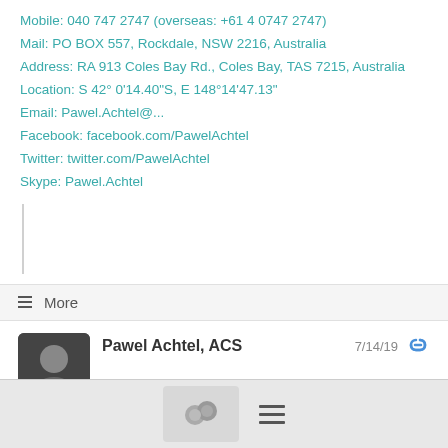Mobile: 040 747 2747 (overseas: +61 4 0747 2747)
Mail: PO BOX 557, Rockdale, NSW 2216, Australia
Address: RA 913 Coles Bay Rd., Coles Bay, TAS 7215, Australia
Location: S 42° 0'14.40"S, E 148°14'47.13"
Email: Pawel.Achtel@...
Facebook: facebook.com/PawelAchtel
Twitter: twitter.com/PawelAchtel
Skype: Pawel.Achtel
≡ More
Pawel Achtel, ACS
7/14/19
Oliver Schietinger wrote: